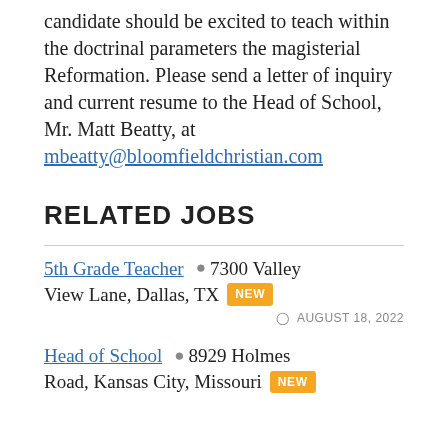candidate should be excited to teach within the doctrinal parameters the magisterial Reformation. Please send a letter of inquiry and current resume to the Head of School, Mr. Matt Beatty, at mbeatty@bloomfieldchristian.com
RELATED JOBS
5th Grade Teacher  📍 7300 Valley View Lane, Dallas, TX NEW   AUGUST 18, 2022
Head of School  📍 8929 Holmes Road, Kansas City, Missouri NEW